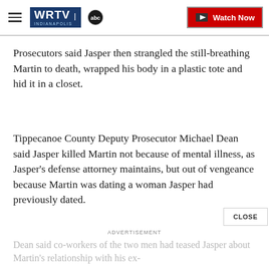WRTV INDIANAPOLIS | Watch Now
Prosecutors said Jasper then strangled the still-breathing Martin to death, wrapped his body in a plastic tote and hid it in a closet.
Tippecanoe County Deputy Prosecutor Michael Dean said Jasper killed Martin not because of mental illness, as Jasper's defense attorney maintains, but out of vengeance because Martin was dating a woman Jasper had previously dated.
Dean said co-workers of the two men had teased Jasper about Martin's relationship with his ex-